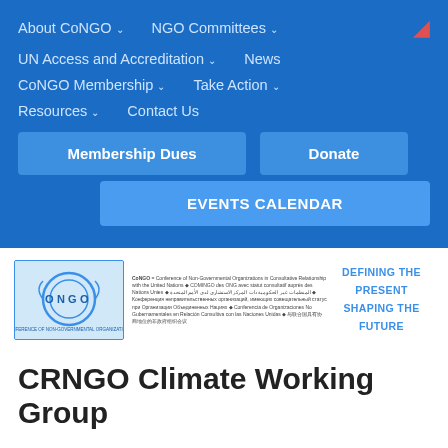About CoNGO | NGO Committees | UN Access and Accreditation | News | CoNGO Membership | Take Action | Resources | Contact Us
Membership Dues
Donate
EVENTS CALENDAR
[Figure (logo): CoNGO logo with circular ONGO emblem and multilingual description text]
DEFINING THE PRESENT SHAPING THE FUTURE
CRNGO Climate Working Group